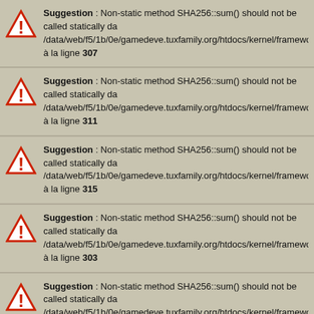Suggestion : Non-static method SHA256::sum() should not be called statically da /data/web/f5/1b/0e/gamedeve.tuxfamily.org/htdocs/kernel/framework/lib/sha2 à la ligne 307
Suggestion : Non-static method SHA256::sum() should not be called statically da /data/web/f5/1b/0e/gamedeve.tuxfamily.org/htdocs/kernel/framework/lib/sha2 à la ligne 311
Suggestion : Non-static method SHA256::sum() should not be called statically da /data/web/f5/1b/0e/gamedeve.tuxfamily.org/htdocs/kernel/framework/lib/sha2 à la ligne 315
Suggestion : Non-static method SHA256::sum() should not be called statically da /data/web/f5/1b/0e/gamedeve.tuxfamily.org/htdocs/kernel/framework/lib/sha2 à la ligne 303
Suggestion : Non-static method SHA256::sum() should not be called statically da /data/web/f5/1b/0e/gamedeve.tuxfamily.org/htdocs/kernel/framework/lib/sha2
[Figure (screenshot): Seamless food delivery advertisement banner with pizza image, Seamless logo, and ORDER NOW button, overlaid with infolinks badge]